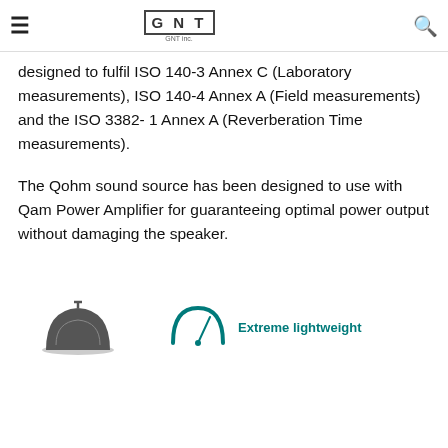GNT [Japanese text]
designed to fulfil ISO 140-3 Annex C (Laboratory measurements), ISO 140-4 Annex A (Field measurements) and the ISO 3382- 1 Annex A (Reverberation Time measurements).
The Qohm sound source has been designed to use with Qam Power Amplifier for guaranteeing optimal power output without damaging the speaker.
[Figure (illustration): Two icons: a dark dome/speaker shape on the left, and a teal/green dome speed-meter style icon on the right with the label 'Extreme lightweight' in teal text]